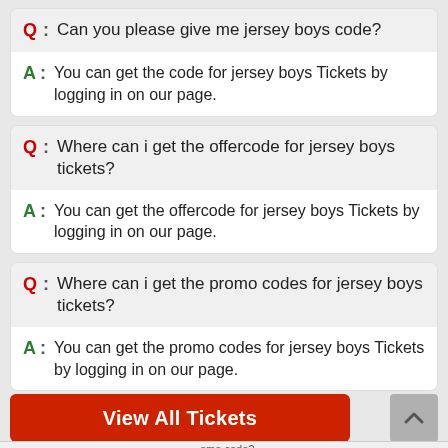Q: Can you please give me jersey boys code?
A: You can get the code for jersey boys Tickets by logging in on our page.
Q: Where can i get the offercode for jersey boys tickets?
A: You can get the offercode for jersey boys Tickets by logging in on our page.
Q: Where can i get the promo codes for jersey boys tickets?
A: You can get the promo codes for jersey boys Tickets by logging in on our page.
View All Tickets
omo code?